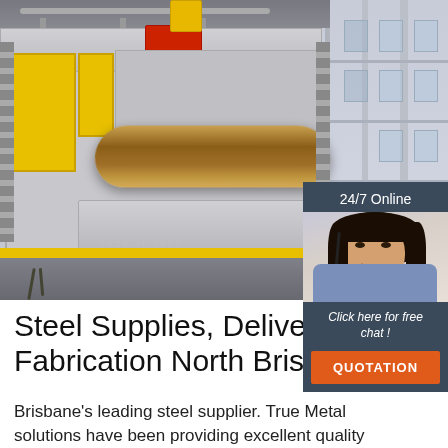[Figure (photo): Industrial steel pipe bending / rolling machine in a factory setting, with gray and yellow panels, a large steel pipe being processed, and a building visible in the background. An overlay chat widget in the top-right shows a customer service agent with headset, '24/7 Online' text, 'Click here for free chat!' and an orange QUOTATION button.]
Steel Supplies, Delivery & Fabrication North Brisbane ...
Brisbane's leading steel supplier. True Metal solutions have been providing excellent quality